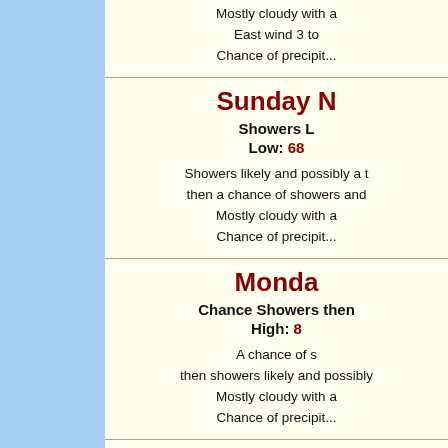Mostly cloudy with a... East wind 3 to... Chance of precipit...
Sunday N
Showers L Low: 68
Showers likely and possibly a t then a chance of showers and Mostly cloudy with a Chance of precipit...
Monda
Chance Showers then High: 8
A chance of s then showers likely and possibly Mostly cloudy with a Chance of precipit...
Mo...